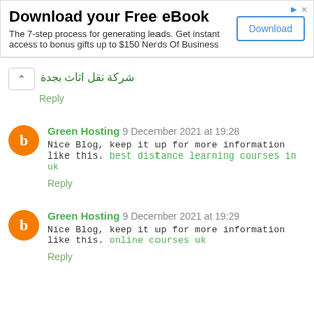[Figure (other): Advertisement banner: Download your Free eBook. The 7-step process for generating leads. Get instant access to bonus gifts up to $150 Nerds Of Business. With a Download button.]
شركة نقل اثاث بجدة
Reply
Green Hosting 9 December 2021 at 19:28
Nice Blog, keep it up for more information like this. best distance learning courses in uk
Reply
Green Hosting 9 December 2021 at 19:29
Nice Blog, keep it up for more information like this. online courses uk
Reply